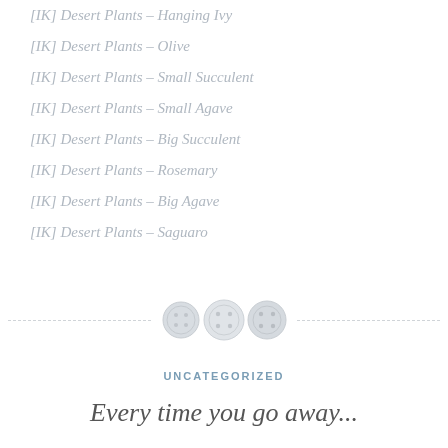[IK] Desert Plants – Hanging Ivy
[IK] Desert Plants – Olive
[IK] Desert Plants – Small Succulent
[IK] Desert Plants – Small Agave
[IK] Desert Plants – Big Succulent
[IK] Desert Plants – Rosemary
[IK] Desert Plants – Big Agave
[IK] Desert Plants – Saguaro
[Figure (illustration): Three decorative button icons in a row with a dashed horizontal divider line]
UNCATEGORIZED
Every time you go away...